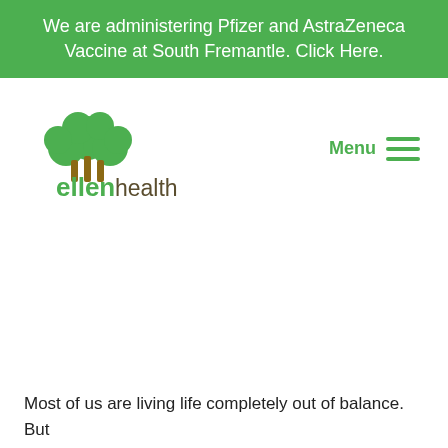We are administering Pfizer and AstraZeneca Vaccine at South Fremantle. Click Here.
[Figure (logo): Ellen Health logo with stylized green tree above text 'ellen health' in green and brown]
Menu
Most of us are living life completely out of balance. But